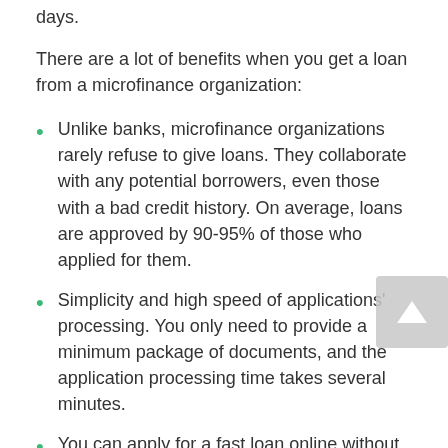days.
There are a lot of benefits when you get a loan from a microfinance organization:
Unlike banks, microfinance organizations rarely refuse to give loans. They collaborate with any potential borrowers, even those with a bad credit history. On average, loans are approved by 90-95% of those who applied for them.
Simplicity and high speed of applications' processing. You only need to provide a minimum package of documents, and the application processing time takes several minutes.
You can apply for a fast loan online without leaving your house. Money is transferred to a bank card; after that, the loan recipient can spend it as he/she wants.
You can apply for a loan at any time of the day or night.